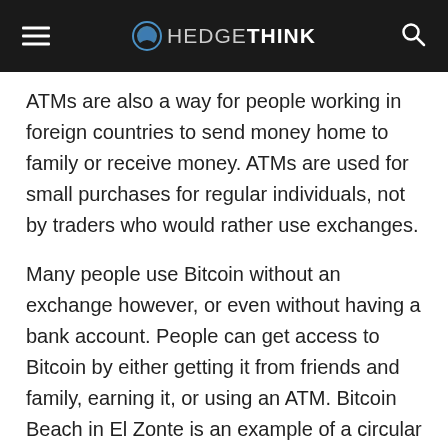HEDGETHINK
ATMs are also a way for people working in foreign countries to send money home to family or receive money. ATMs are used for small purchases for regular individuals, not by traders who would rather use exchanges.
Many people use Bitcoin without an exchange however, or even without having a bank account. People can get access to Bitcoin by either getting it from friends and family, earning it, or using an ATM. Bitcoin Beach in El Zonte is an example of a circular Bitcoin economy where people earn and spend in Bitcoin, many of whom don't have a traditional bank account. Peer to peer trading